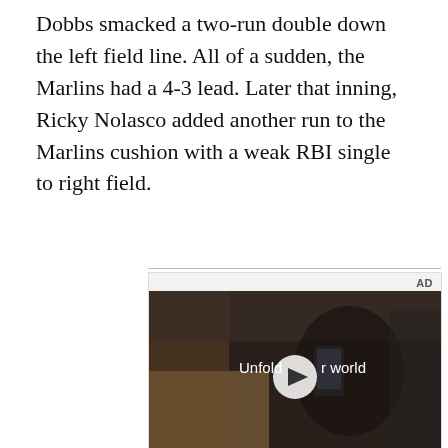Dobbs smacked a two-run double down the left field line. All of a sudden, the Marlins had a 4-3 lead. Later that inning, Ricky Nolasco added another run to the Marlins cushion with a weak RBI single to right field.
[Figure (other): Samsung advertisement showing a video player with a woman in a car holding a foldable phone. Text reads 'Unfold your world' with a play button overlay. Below the video is the Samsung logo and 'Pre-order' text in bold.]